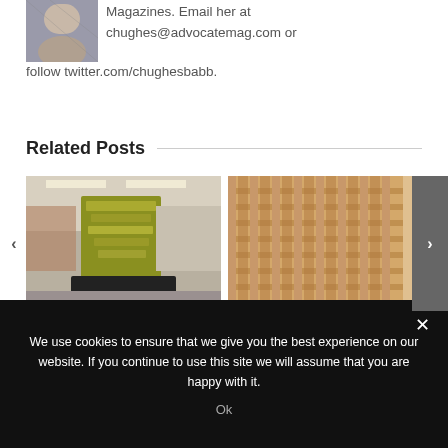Magazines. Email her at chughes@advocatemag.com or follow twitter.com/chughesbabb.
Related Posts
[Figure (photo): Photo of a large sculpture made from stacked food cans inside a shopping mall atrium]
[Figure (photo): Photo of the exterior facade of a multi-story building with balconies, warm tan/orange tones]
We use cookies to ensure that we give you the best experience on our website. If you continue to use this site we will assume that you are happy with it.
Ok